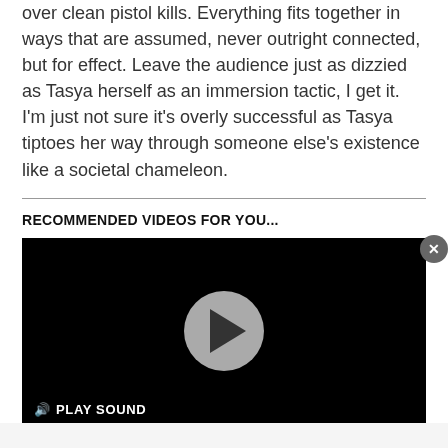over clean pistol kills. Everything fits together in ways that are assumed, never outright connected, but for effect. Leave the audience just as dizzied as Tasya herself as an immersion tactic, I get it. I’m just not sure it’s overly successful as Tasya tiptoes her way through someone else’s existence like a societal chameleon.
RECOMMENDED VIDEOS FOR YOU...
[Figure (screenshot): A video player with a black background, a circular grey play button in the center with a dark play arrow, and a 'PLAY SOUND' button with a speaker icon in the bottom left. A close (X) button appears on the bottom right edge of the player.]